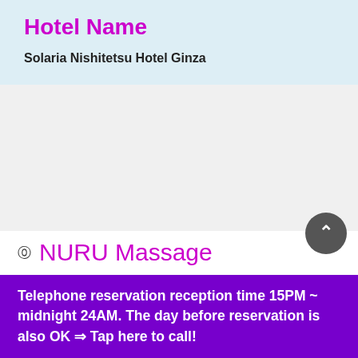Hotel Name
Solaria Nishitetsu Hotel Ginza
[Figure (other): Empty white/gray image placeholder area]
⑨ NURU Massage
We can also offer an outcall "NURU MASSAGE" at Solaria Nishitetsu Hotel Ginza in Ginza, Chuo-ku , Tokyo.
Telephone reservation reception time 15PM ~ midnight 24AM. The day before reservation is also OK ⇒ Tap here to call!